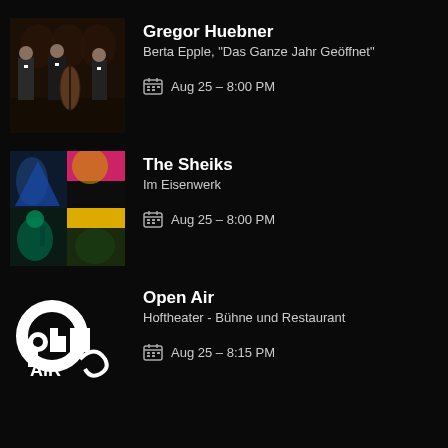[Figure (photo): Three musicians in formal black suits, one holding a double bass, posed in a classic interior setting]
Gregor Huebner
Berta Epple, "Das Ganze Jahr Geöffnet"
Aug 25 – 8:00 PM
[Figure (photo): Colorful collage art for The Sheiks with geometric shapes and performance images in blue, magenta, orange, and green]
The Sheiks
Im Eisenwerk
Aug 25 – 8:00 PM
[Figure (logo): Open Air logo with decorative vintage lettering in white on black]
Open Air
Hoftheater - Bühne und Restaurant
Aug 25 – 8:15 PM